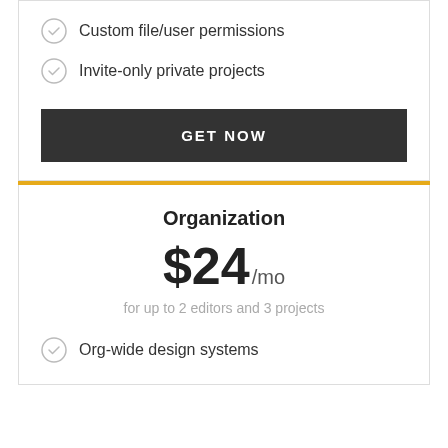Custom file/user permissions
Invite-only private projects
GET NOW
Organization
$24/mo
for up to 2 editors and 3 projects
Org-wide design systems